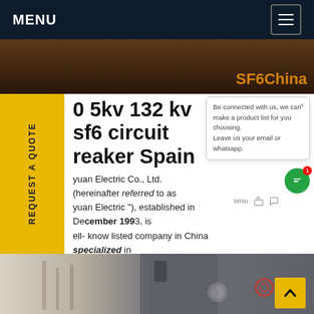MENU
[Figure (photo): Hero banner showing industrial/electrical equipment background with 'SF6China' brand text in orange]
REQUEST A QUOTE
0 5kv 132 kv sf6 circuit breaker Spain
yuan Electric Co., Ltd. (hereinafter referred to as yuan Electric"), established in December 1993, is ell-know listed company in China specialized in of electric power technology, equipment nufacturing and engineering services. ipments.Get price
[Figure (photo): Bottom image showing electrical circuit breaker equipment and industrial infrastructure in grey tones]